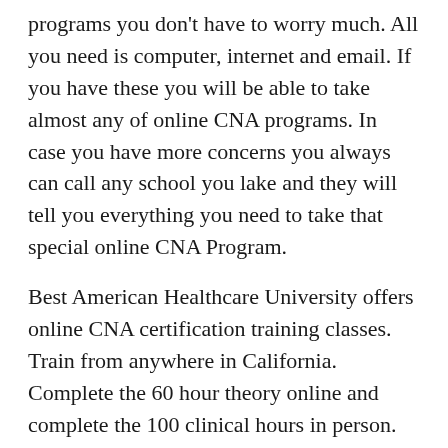programs you don't have to worry much. All you need is computer, internet and email. If you have these you will be able to take almost any of online CNA programs. In case you have more concerns you always can call any school you lake and they will tell you everything you need to take that special online CNA Program.
Best American Healthcare University offers online CNA certification training classes. Train from anywhere in California. Complete the 60 hour theory online and complete the 100 clinical hours in person. Why choose the Best American Online nurse assistant program? 1. Commute is reduced since theory classes are completed online. 2.